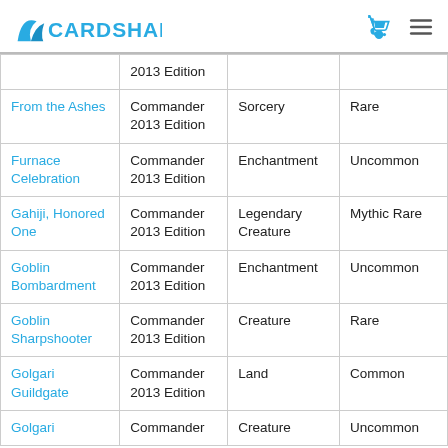CardShark
| Name | Set | Type | Rarity |
| --- | --- | --- | --- |
|  | 2013 Edition |  |  |
| From the Ashes | Commander 2013 Edition | Sorcery | Rare |
| Furnace Celebration | Commander 2013 Edition | Enchantment | Uncommon |
| Gahiji, Honored One | Commander 2013 Edition | Legendary Creature | Mythic Rare |
| Goblin Bombardment | Commander 2013 Edition | Enchantment | Uncommon |
| Goblin Sharpshooter | Commander 2013 Edition | Creature | Rare |
| Golgari Guildgate | Commander 2013 Edition | Land | Common |
| Golgari | Commander | Creature | Uncommon |